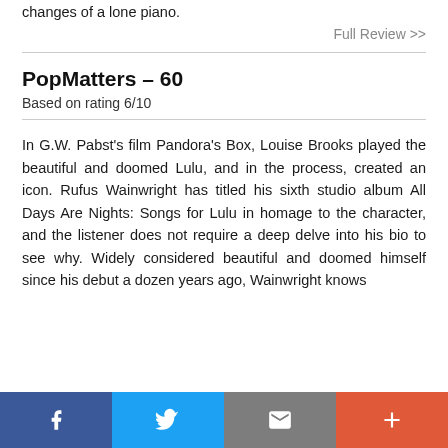changes of a lone piano.
Full Review >>
PopMatters - 60
Based on rating 6/10
In G.W. Pabst’s film Pandora’s Box, Louise Brooks played the beautiful and doomed Lulu, and in the process, created an icon. Rufus Wainwright has titled his sixth studio album All Days Are Nights: Songs for Lulu in homage to the character, and the listener does not require a deep delve into his bio to see why. Widely considered beautiful and doomed himself since his debut a dozen years ago, Wainwright knows
[Figure (other): Social sharing bar with Facebook, Twitter, Email, and Plus buttons]